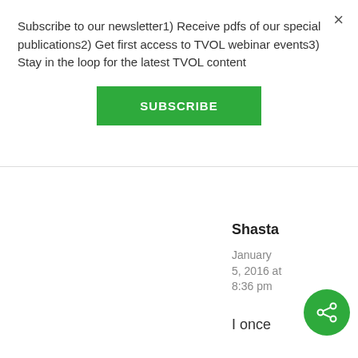Subscribe to our newsletter1) Receive pdfs of our special publications2) Get first access to TVOL webinar events3) Stay in the loop for the latest TVOL content
SUBSCRIBE
Shasta
January 5, 2016 at 8:36 pm
I once had a student in my